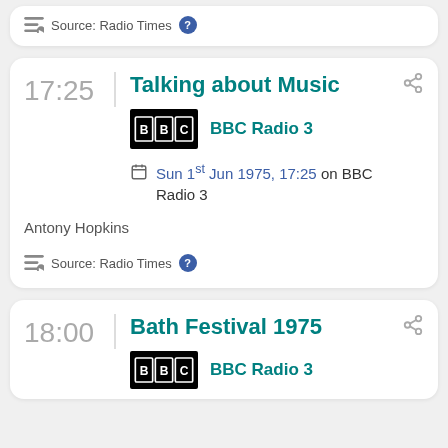Source: Radio Times
17:25
Talking about Music
BBC Radio 3
Sun 1st Jun 1975, 17:25 on BBC Radio 3
Antony Hopkins
Source: Radio Times
18:00
Bath Festival 1975